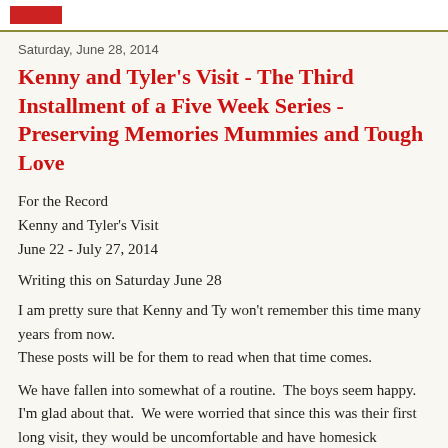[red logo bar]
Saturday, June 28, 2014
Kenny and Tyler's Visit - The Third Installment of a Five Week Series - Preserving Memories Mummies and Tough Love
For the Record
Kenny and Tyler's Visit
June 22 - July 27, 2014
Writing this on Saturday June 28
I am pretty sure that Kenny and Ty won't remember this time many years from now.
These posts will be for them to read when that time comes.
We have fallen into somewhat of a routine.  The boys seem happy.  I'm glad about that.  We were worried that since this was their first long visit, they would be uncomfortable and have homesick